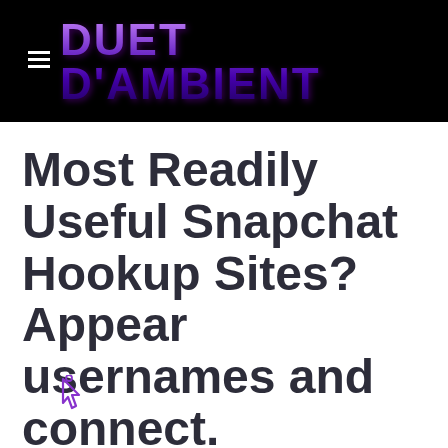DUET D'AMBIENT
Most Readily Useful Snapchat Hookup Sites? Appear usernames and connect.
Publicat per admin el desembre 1, 2021